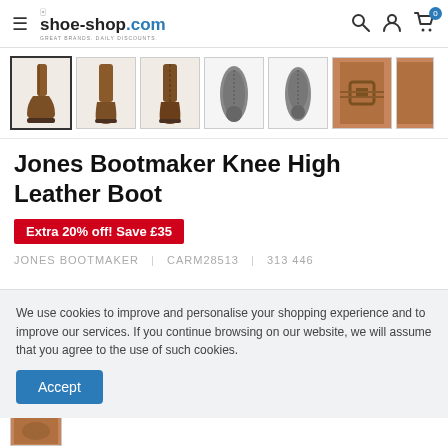shoe-shop.com — great brands. daily discounts.
[Figure (photo): Product thumbnail strip showing 7 views of a brown knee-high leather boot — side view (selected), front view, back view, sole bottom x2, and buckle detail]
Jones Bootmaker Knee High Leather Boot
Extra 20% off! Save £35
JONES BOOTMAKER | CARM28513 | 313 446
We use cookies to improve and personalise your shopping experience and to improve our services. If you continue browsing on our website, we will assume that you agree to the use of such cookies.
Accept